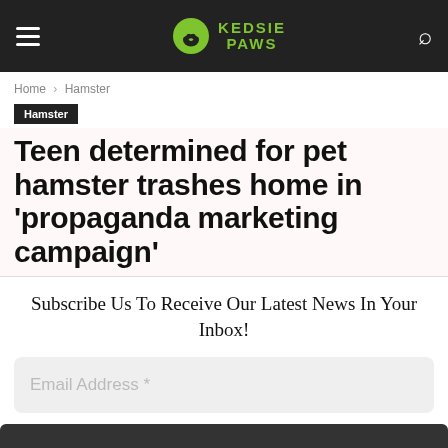Kedsie Paws
Home › Hamster
Hamster
Teen determined for pet hamster trashes home in 'propaganda marketing campaign'
Subscribe Us To Receive Our Latest News In Your Inbox!
Email Address *